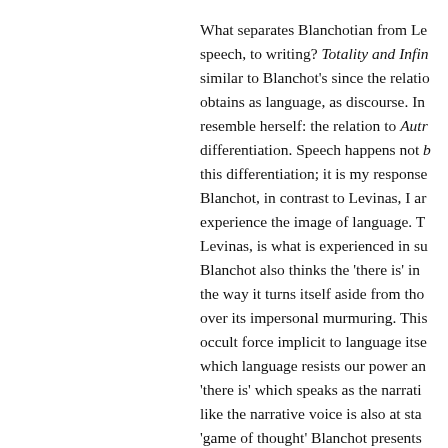What separates Blanchotian from Le speech, to writing? Totality and Infin similar to Blanchot's since the relatio obtains as language, as discourse. In resemble herself: the relation to Autr differentiation. Speech happens not b this differentiation; it is my response Blanchot, in contrast to Levinas, I ar experience the image of language. T Levinas, is what is experienced in su Blanchot also thinks the 'there is' in the way it turns itself aside from tho over its impersonal murmuring. This occult force implicit to language itse which language resists our power an 'there is' which speaks as the narrati like the narrative voice is also at sta 'game of thought' Blanchot presents